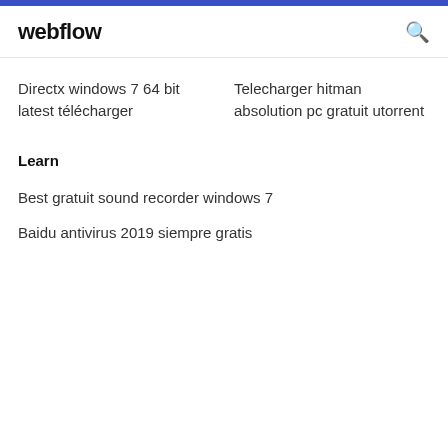webflow
Directx windows 7 64 bit latest télécharger
Telecharger hitman absolution pc gratuit utorrent
Learn
Best gratuit sound recorder windows 7
Baidu antivirus 2019 siempre gratis